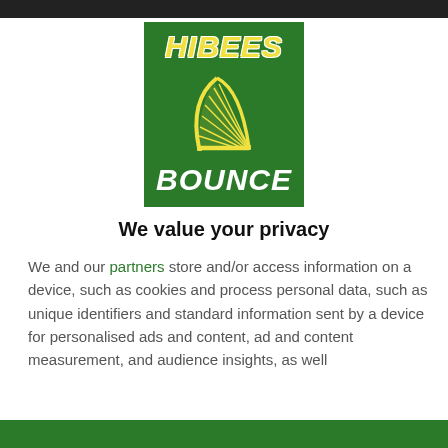[Figure (logo): Hibees Bounce podcast/website logo: green square with 'HIBEES' in yellow italic bold text at top, a yellow harp illustration in the center, and 'BOUNCE' in white italic bold text at the bottom.]
We value your privacy
We and our partners store and/or access information on a device, such as cookies and process personal data, such as unique identifiers and standard information sent by a device for personalised ads and content, ad and content measurement, and audience insights, as well